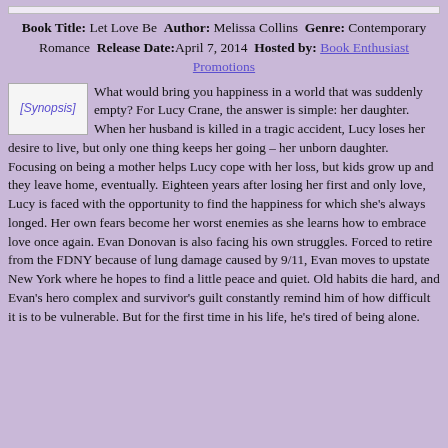Book Title: Let Love Be Author: Melissa Collins Genre: Contemporary Romance Release Date: April 7, 2014 Hosted by: Book Enthusiast Promotions
[Figure (illustration): Synopsis image placeholder showing the text '[Synopsis]' in blue italic, representing a broken or loading image]
What would bring you happiness in a world that was suddenly empty? For Lucy Crane, the answer is simple: her daughter. When her husband is killed in a tragic accident, Lucy loses her desire to live, but only one thing keeps her going – her unborn daughter. Focusing on being a mother helps Lucy cope with her loss, but kids grow up and they leave home, eventually. Eighteen years after losing her first and only love, Lucy is faced with the opportunity to find the happiness for which she's always longed. Her own fears become her worst enemies as she learns how to embrace love once again. Evan Donovan is also facing his own struggles. Forced to retire from the FDNY because of lung damage caused by 9/11, Evan moves to upstate New York where he hopes to find a little peace and quiet. Old habits die hard, and Evan's hero complex and survivor's guilt constantly remind him of how difficult it is to be vulnerable. But for the first time in his life, he's tired of being alone.